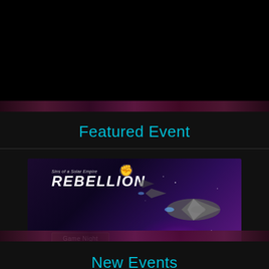Featured Event
[Figure (screenshot): Screenshot of Sins of a Solar Empire: Rebellion game showing the Cosmic Chaos event selection screen with space ships and purple nebula background]
Cosmic Chaos – 1st April 2020
New Events